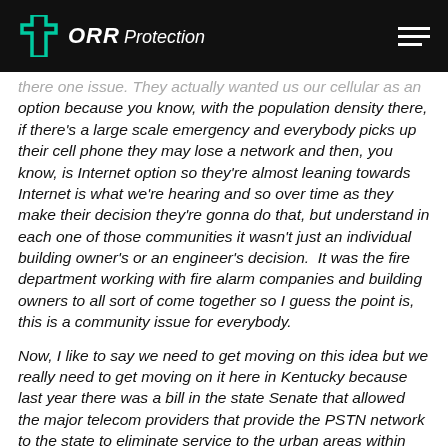[Figure (logo): ORR Protection logo with teal cross/plus icon and white italic text 'ORR Protection' on black background header]
there one issue. They actually wanted us our cellular as an option because you know, with the population density there, if there's a large scale emergency and everybody picks up their cell phone they may lose a network and then, you know, is Internet option so they're almost leaning towards Internet is what we're hearing and so over time as they make their decision they're gonna do that, but understand in each one of those communities it wasn't just an individual building owner's or an engineer's decision.  It was the fire department working with fire alarm companies and building owners to all sort of come together so I guess the point is, this is a community issue for everybody.
Now, I like to say we need to get moving on this idea but we really need to get moving on it here in Kentucky because last year there was a bill in the state Senate that allowed the major telecom providers that provide the PSTN network to the state to eliminate service to the urban areas within the state.  Two